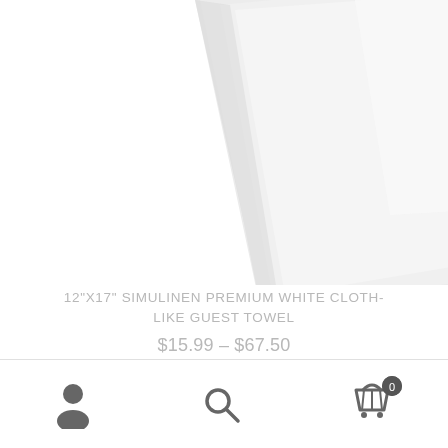[Figure (photo): A white folded cloth/towel photographed against a white background, slightly rotated, cropped at top of page]
12"X17" SIMULINEN PREMIUM WHITE CLOTH-LIKE GUEST TOWEL
$15.99 – $67.50
SELECT OPTIONS
[Figure (other): Green rounded square badge with number 1 indicating cart item quantity]
Navigation bar with user account icon, search icon, and shopping cart icon with badge showing 0